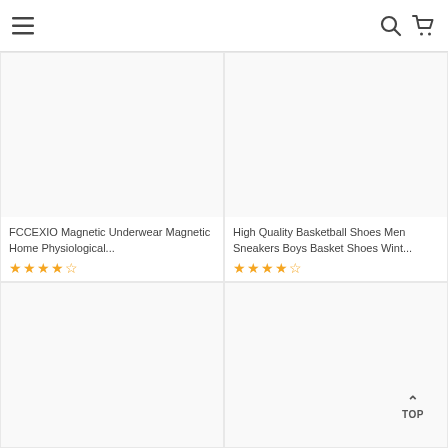Navigation bar with hamburger menu, search icon, and cart icon
[Figure (photo): Product image placeholder for FCCEXIO Magnetic Underwear]
FCCEXIO Magnetic Underwear Magnetic Home Physiological...
★★★★½ (4.5 stars)
[Figure (photo): Product image placeholder for High Quality Basketball Shoes]
High Quality Basketball Shoes Men Sneakers Boys Basket Shoes Wint...
★★★★½ (4.5 stars)
[Figure (photo): Product image placeholder - bottom left]
[Figure (photo): Product image placeholder - bottom right]
TOP